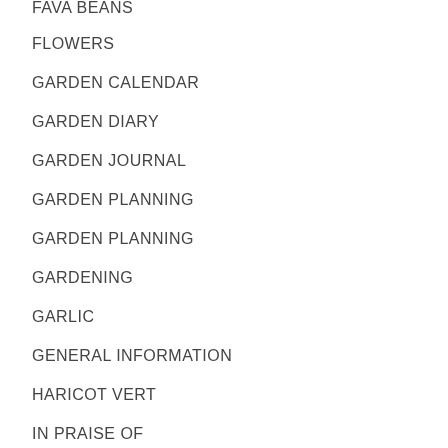FAVA BEANS
FLOWERS
GARDEN CALENDAR
GARDEN DIARY
GARDEN JOURNAL
GARDEN PLANNING
GARDEN PLANNING
GARDENING
GARLIC
GENERAL INFORMATION
HARICOT VERT
IN PRAISE OF